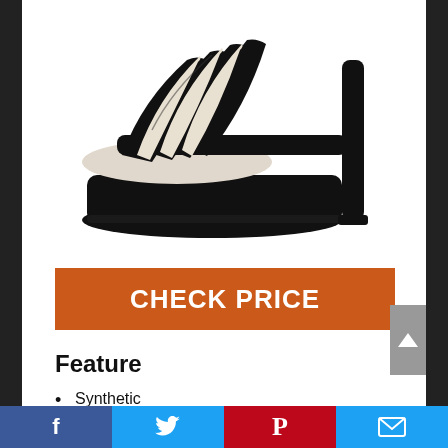[Figure (photo): Black platform high-heel strappy sandal shoe on white background]
CHECK PRICE
Feature
Synthetic
Imported
Synthetic sole
Platform measures approximately 2
Facebook | Twitter | Pinterest | Email